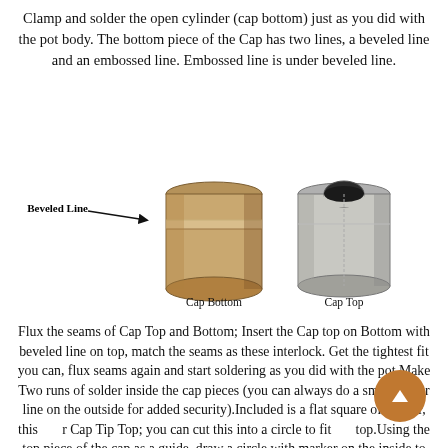Clamp and solder the open cylinder (cap bottom) just as you did with the pot body. The bottom piece of the Cap has two lines, a beveled line and an embossed line. Embossed line is under beveled line.
[Figure (photo): Two metal cylindrical cap pieces side by side. Left image labeled 'Cap Bottom' shows a copper/bronze cylinder with a horizontal beveled line indicated by an arrow labeled 'Beveled Line'. Right image labeled 'Cap Top' shows a similar cylinder with a semicircular hole cut at the top edge.]
Cap Bottom
Cap Top
Flux the seams of Cap Top and Bottom; Insert the Cap top on Bottom with beveled line on top, match the seams as these interlock. Get the tightest fit you can, flux seams again and start soldering as you did with the pot.Make Two runs of solder inside the cap pieces (you can always do a small solder line on the outside for added security).Included is a flat square of copper, this r Cap Tip Top; you can cut this into a circle to fit top.Using the top piece of the cap as a guide, draw a circle with marker on the inside to make a stencil of the right size.